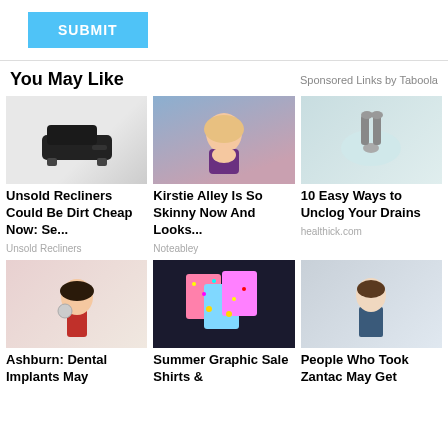SUBMIT
You May Like
Sponsored Links by Taboola
[Figure (photo): Black leather recliner chair on white background]
Unsold Recliners Could Be Dirt Cheap Now: Se...
Unsold Recliners
[Figure (photo): Kirstie Alley smiling, blonde hair, purple outfit]
Kirstie Alley Is So Skinny Now And Looks...
Noteabley
[Figure (photo): Bathroom sink with faucet, water, drain visible]
10 Easy Ways to Unclog Your Drains
healthick.com
[Figure (photo): Woman in red sweater holding a mirror, smiling]
Ashburn: Dental Implants May
[Figure (photo): Colorful glitter phone cases with bee designs on dark background]
Summer Graphic Sale Shirts &
[Figure (photo): Man in suit smiling against grey background]
People Who Took Zantac May Get